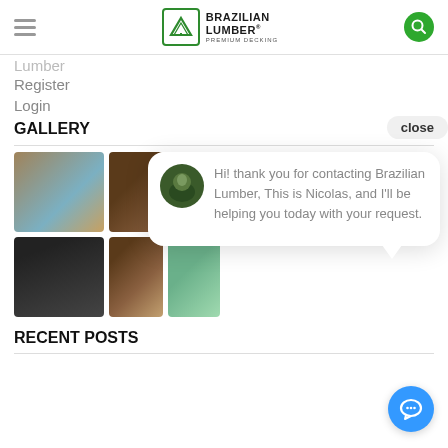Brazilian Lumber Premium Decking
Lumber
Register
Login
GALLERY
[Figure (screenshot): Chat popup with avatar of Nicolas and message: Hi! thank you for contacting Brazilian Lumber, This is Nicolas, and I'll be helping you today with your request.]
[Figure (photo): Gallery grid of decking photos showing outdoor deck and pool areas]
RECENT POSTS